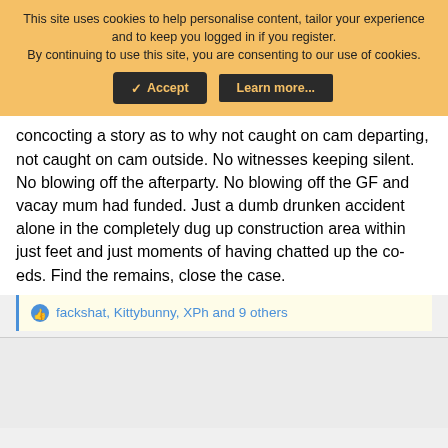This site uses cookies to help personalise content, tailor your experience and to keep you logged in if you register. By continuing to use this site, you are consenting to our use of cookies.
[Figure (other): Two buttons: a dark Accept button with checkmark and a dark Learn more... button with orange text]
concocting a story as to why not caught on cam departing, not caught on cam outside. No witnesses keeping silent. No blowing off the afterparty. No blowing off the GF and vacay mum had funded. Just a dumb drunken accident alone in the completely dug up construction area within just feet and just moments of having chatted up the co-eds. Find the remains, close the case.
fackshat, Kittybunny, XPh and 9 others